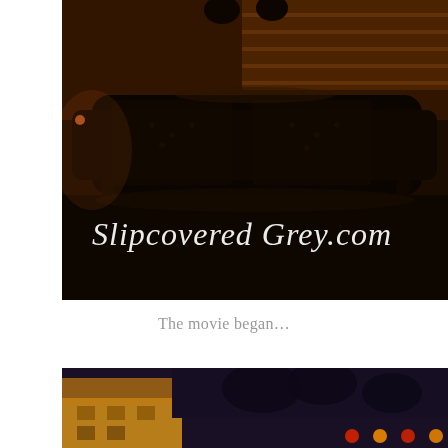[Figure (photo): Dark nighttime photo of a sofa outdoors, with people visible in the background near a wooden fence. Warm orange ambient lighting. Script text overlay reads 'Slipcovered Grey.com' in white cursive lettering.]
The movie began…
[Figure (photo): Nighttime exterior photo showing a house with warm lit windows, dark sky, trees silhouetted, and colorful lights (traffic or string lights) visible at the bottom right.]